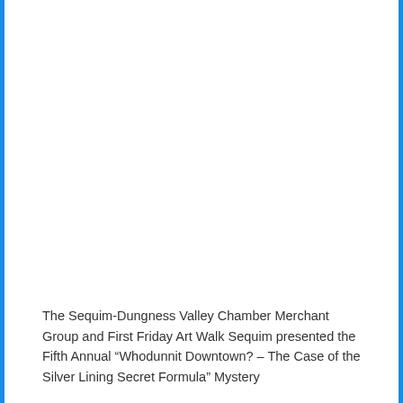The Sequim-Dungness Valley Chamber Merchant Group and First Friday Art Walk Sequim presented the Fifth Annual “Whodunnit Downtown? – The Case of the Silver Lining Secret Formula” Mystery